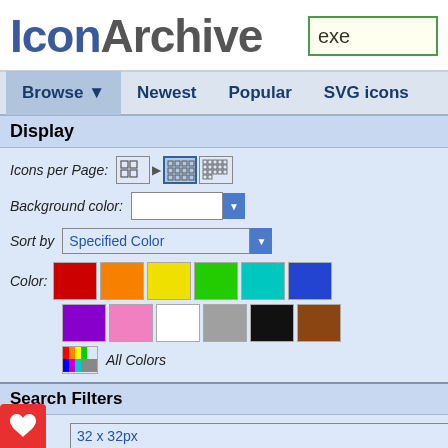IconArchive
exe (search box)
Browse ▼  Newest  Popular  SVG icons
Display
Icons per Page:
Background color:
Sort by: Specified Color
Color: [swatches] All Colors
Search Filters
Size: 32 x 32px
Category: People
Style: Photorealistic
Results 1-0 of 0 for search term '
Your search for »exe« did not m
If you agree to remove the fi
Results 1-0 of 0 for search term '